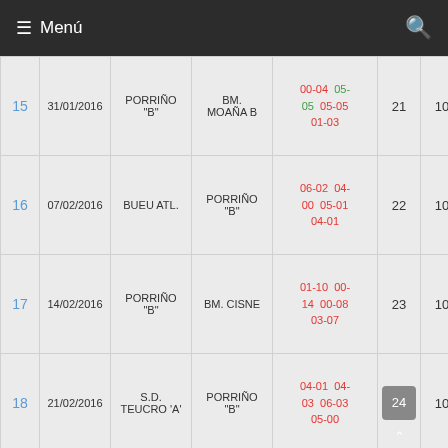≡ Menú
|  | Date | Home | Away | Scores |  |  |
| --- | --- | --- | --- | --- | --- | --- |
| 15 | 31/01/2016 | PORRIÑO "B" | BM. MOAÑA B | 00-04  05-05  05-05  01-03 | 21 | 10 |
| 16 | 07/02/2016 | BUEU ATL. | PORRIÑO "B" | 06-02  04-00  05-01  04-01 | 22 | 10 |
| 17 | 14/02/2016 | PORRIÑO "B" | BM. CISNE | 01-10  00-14  00-08  03-07 | 23 | 10 |
| 18 | 21/02/2016 | S.D. TEUCRO 'A' | PORRIÑO "B" | 04-01  04-03  06-03  05-00 | 24 | 10 |